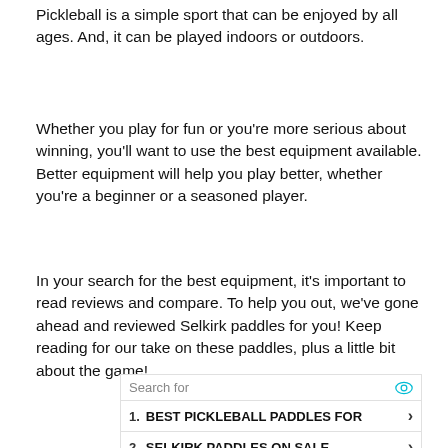Pickleball is a simple sport that can be enjoyed by all ages. And, it can be played indoors or outdoors.
Whether you play for fun or you're more serious about winning, you'll want to use the best equipment available. Better equipment will help you play better, whether you're a beginner or a seasoned player.
In your search for the best equipment, it's important to read reviews and compare. To help you out, we've gone ahead and reviewed Selkirk paddles for you! Keep reading for our take on these paddles, plus a little bit about the game!
[Figure (screenshot): Yahoo Search sponsored ad box with 'Search for' header and two search result links: 1. BEST PICKLEBALL PADDLES FOR and 2. SELKIRK PADDLES ON SALE, with arrows, eye icon, and share icon.]